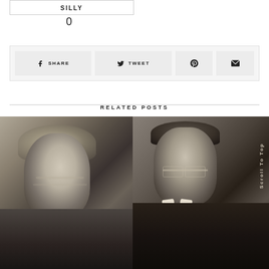SILLY
0
SHARE
TWEET
RELATED POSTS
[Figure (photo): Black and white portrait of a woman with blonde hair, smiling slightly, wearing a patterned jacket]
[Figure (photo): Black and white portrait of a man in a tuxedo with bow tie and glasses]
Scroll To Top